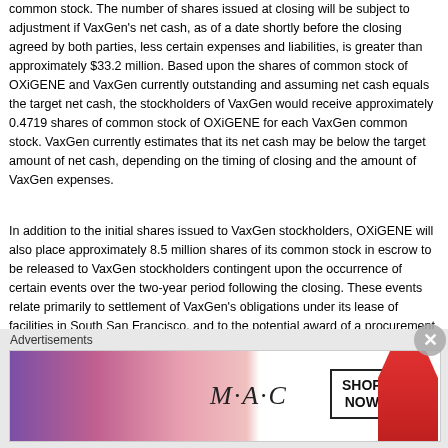common stock. The number of shares issued at closing will be subject to adjustment if VaxGen's net cash, as of a date shortly before the closing agreed by both parties, less certain expenses and liabilities, is greater than approximately $33.2 million. Based upon the shares of common stock of OXiGENE and VaxGen currently outstanding and assuming net cash equals the target net cash, the stockholders of VaxGen would receive approximately 0.4719 shares of common stock of OXiGENE for each VaxGen common stock. VaxGen currently estimates that its net cash may be below the target amount of net cash, depending on the timing of closing and the amount of VaxGen expenses.
In addition to the initial shares issued to VaxGen stockholders, OXiGENE will also place approximately 8.5 million shares of its common stock in escrow to be released to VaxGen stockholders contingent upon the occurrence of certain events over the two-year period following the closing. These events relate primarily to settlement of VaxGen's obligations under its lease of facilities in South San Francisco, and to the potential award of a procurement contract to Emergent BioSolutions (NYSE:EBS) by the U.S. Government for which VaxGen is eligible to receive milestone and royalty payments in connection with Emergent BioSolutions' May 2008 acquisition of VaxGen's reco...
Advertisements
[Figure (photo): M·A·C cosmetics advertisement banner showing lipsticks and a SHOP NOW button]